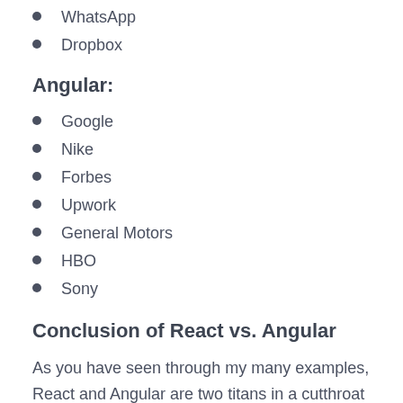WhatsApp
Dropbox
Angular:
Google
Nike
Forbes
Upwork
General Motors
HBO
Sony
Conclusion of React vs. Angular
As you have seen through my many examples, React and Angular are two titans in a cutthroat